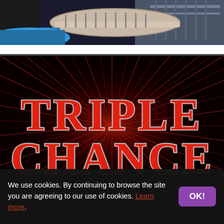[Figure (photo): Top portion of a building/casino exterior with railings and balconies, partial blue sky]
[Figure (illustration): Dark red burst/starburst background with 'TRIPLE CHANCE' casino game logo text in large red letters with white outline]
We use cookies. By continuing to browse the site you are agreeing to our use of cookies. Learn more.